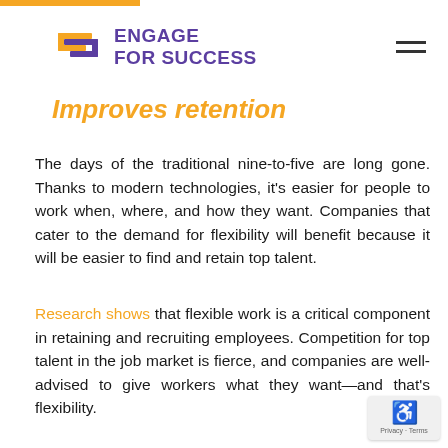Engage For Success
Improves retention
The days of the traditional nine-to-five are long gone. Thanks to modern technologies, it's easier for people to work when, where, and how they want. Companies that cater to the demand for flexibility will benefit because it will be easier to find and retain top talent.
Research shows that flexible work is a critical component in retaining and recruiting employees. Competition for top talent in the job market is fierce, and companies are well-advised to give workers what they want—and that's flexibility.